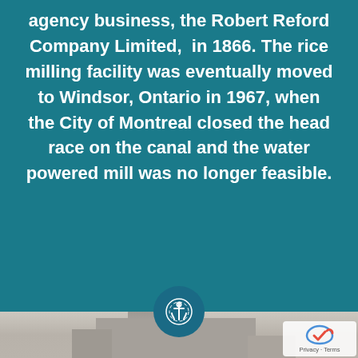agency business, the Robert Reford Company Limited, in 1866. The rice milling facility was eventually moved to Windsor, Ontario in 1967, when the City of Montreal closed the head race on the canal and the water powered mill was no longer feasible.
[Figure (photo): Old black and white photograph of a large historic grain mill or industrial building with a domed roof, set against a pale background. A decorative anchor-in-circle logo badge overlaps the transition between the teal text section and the photo.]